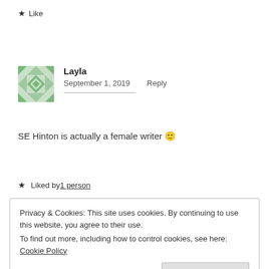★ Like
[Figure (illustration): Green geometric/quilted avatar icon for user Layla]
Layla
September 1, 2019    Reply
SE Hinton is actually a female writer 🙂
★ Liked by 1 person
Privacy & Cookies: This site uses cookies. By continuing to use this website, you agree to their use.
To find out more, including how to control cookies, see here: Cookie Policy
[Close and accept]